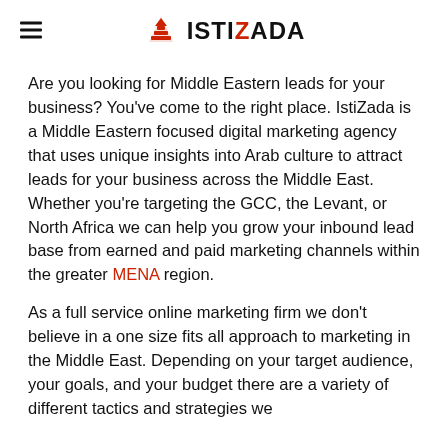IstiZada
Are you looking for Middle Eastern leads for your business? You've come to the right place. IstiZada is a Middle Eastern focused digital marketing agency that uses unique insights into Arab culture to attract leads for your business across the Middle East. Whether you're targeting the GCC, the Levant, or North Africa we can help you grow your inbound lead base from earned and paid marketing channels within the greater MENA region.
As a full service online marketing firm we don't believe in a one size fits all approach to marketing in the Middle East. Depending on your target audience, your goals, and your budget there are a variety of different tactics and strategies we